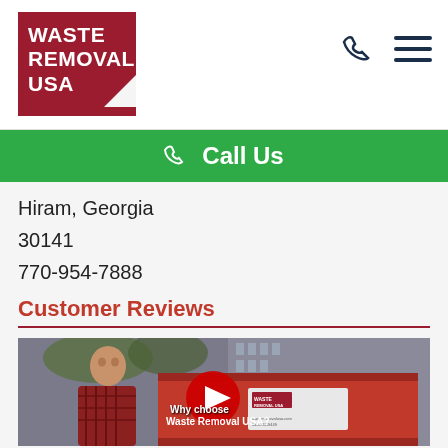Waste Removal USA
Call Us
Hiram, Georgia
30141
770-954-7888
Customer Reviews
[Figure (screenshot): YouTube video thumbnail showing a man standing next to a red dumpster with text 'Why choose Waste Removal USA?' and a red play button overlay]